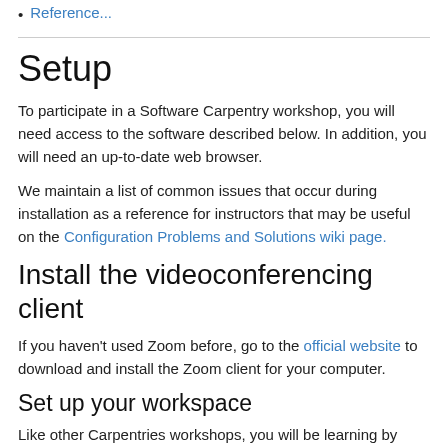Reference...
Setup
To participate in a Software Carpentry workshop, you will need access to the software described below. In addition, you will need an up-to-date web browser.
We maintain a list of common issues that occur during installation as a reference for instructors that may be useful on the Configuration Problems and Solutions wiki page.
Install the videoconferencing client
If you haven't used Zoom before, go to the official website to download and install the Zoom client for your computer.
Set up your workspace
Like other Carpentries workshops, you will be learning by "coding along" with the Instructors. To do this, you will need to have both the window for the tool you will be learning about (a terminal,